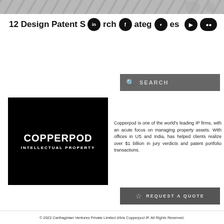[Figure (illustration): Decorative header banner with patterned background (geometric/ornamental design)]
12 Design Patent Search Strategies
[Figure (logo): Copperpod Intellectual Property logo — black square with white bold text COPPERPOD INTELLECTUAL PROPERTY]
[Figure (screenshot): Search bar UI element with magnifying glass icon and SEARCH text on dark grey background]
Copperpod is one of the world's leading IP firms, with an acute focus on managing property assets. With offices in US and India, has helped clients realize over $1 billion in jury verdicts and patent portfolio transactions.
[Figure (screenshot): REQUEST A QUOTE button with star icon on dark grey background]
© 2022 Carthaginian Ventures Private Limited d/b/a Copperpod IP. All Rights Reserved.